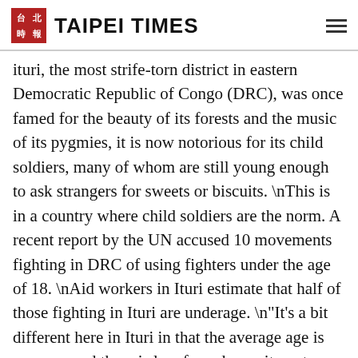TAIPEI TIMES
Ituri, the most strife-torn district in eastern Democratic Republic of Congo (DRC), was once famed for the beauty of its forests and the music of its pygmies, it is now notorious for its child soldiers, many of whom are still young enough to ask strangers for sweets or biscuits. \nThis is in a country where child soldiers are the norm. A recent report by the UN accused 10 movements fighting in DRC of using fighters under the age of 18. \nAid workers in Ituri estimate that half of those fighting in Ituri are underage. \n"It's a bit different here in Ituri in that the average age is younger and there is less forced recruitment (than elsewhere in DRC) and more voluntary recruitment. It's families and communities who send the children, the communities see it as their own protection," Johannes Webenig, the head of UNICEF for eastern DRC, told AFP in Bunia. \n"You have to contribute to the war effort and there are different ways of contributing, one